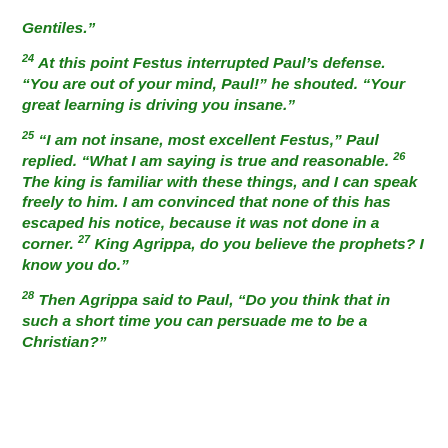Gentiles.”
24 At this point Festus interrupted Paul’s defense. “You are out of your mind, Paul!” he shouted. “Your great learning is driving you insane.”
25 “I am not insane, most excellent Festus,” Paul replied. “What I am saying is true and reasonable. 26 The king is familiar with these things, and I can speak freely to him. I am convinced that none of this has escaped his notice, because it was not done in a corner. 27 King Agrippa, do you believe the prophets? I know you do.”
28 Then Agrippa said to Paul, “Do you think that in such a short time you can persuade me to be a Christian?”